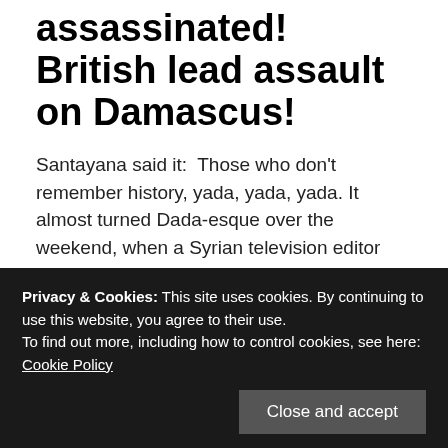assassinated! British lead assault on Damascus!
Santayana said it:  Those who don't remember history, yada, yada, yada. It almost turned Dada-esque over the weekend, when a Syrian television editor mistook a "history-as-it-happened" Twitter feed for actual events. http://twitter.com/thetimes/status/483601142060822528 One reason to … Continue reading →
June 30, 2014   2 Replies
Privacy & Cookies: This site uses cookies. By continuing to use this website, you agree to their use. To find out more, including how to control cookies, see here: Cookie Policy